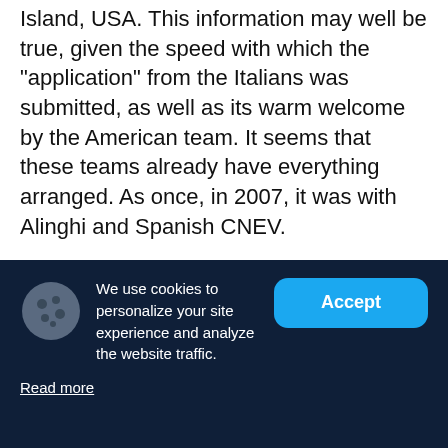Island, USA. This information may well be true, given the speed with which the "application" from the Italians was submitted, as well as its warm welcome by the American team. It seems that these teams already have everything arranged. As once, in 2007, it was with Alinghi and Spanish CNEV.

Responding to questions about the selection of challengers for the America's Cup, the BMW Oracle CEO said that the qualifying tournament will be fully independent and the current Cup Defender (i.e. BMW Oracle) will not participate in it so as not to influence the Challengers selection process. The
We use cookies to personalize your site experience and analyze the website traffic.
Accept
Read more